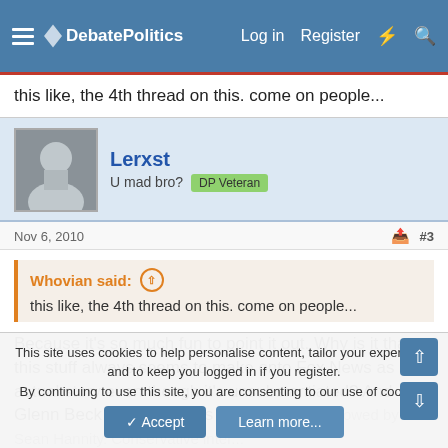DebatePolitics — Log in   Register
this like, the 4th thread on this. come on people...
Lerxst
U mad bro?  DP Veteran
Nov 6, 2010   #3
Whovian said:
this like, the 4th thread on this. come on people...
Because it's so much fun to point it out. Why is it that this stuff always seems to make onto Fox News as an actual story even though it's unsubstantiated? And Glenn Beck always seems to spearhead it followed by Sean Hannity. Conservative internet...
This site uses cookies to help personalise content, tailor your experience and to keep you logged in if you register.
By continuing to use this site, you are consenting to our use of cookies.
Accept   Learn more...